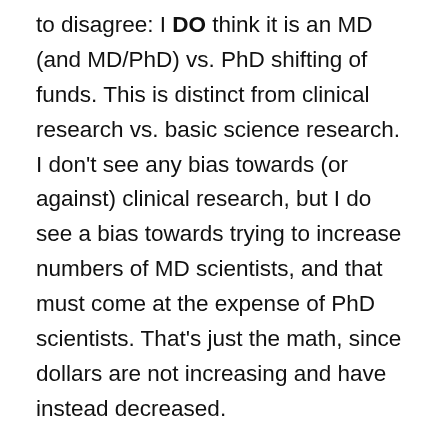to disagree: I DO think it is an MD (and MD/PhD) vs. PhD shifting of funds. This is distinct from clinical research vs. basic science research. I don't see any bias towards (or against) clinical research, but I do see a bias towards trying to increase numbers of MD scientists, and that must come at the expense of PhD scientists. That's just the math, since dollars are not increasing and have instead decreased.
The NIH has noted that they are disturbed by trends showing decreasing commitment by MDs to research, and hope to reverse these trends. Their motivation is largely that they view MDs as essential to translational research